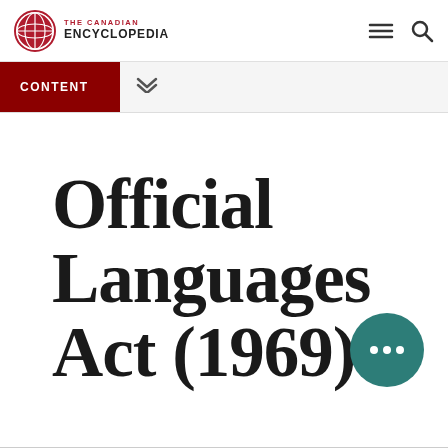THE CANADIAN ENCYCLOPEDIA
CONTENT
Official Languages Act (1969)